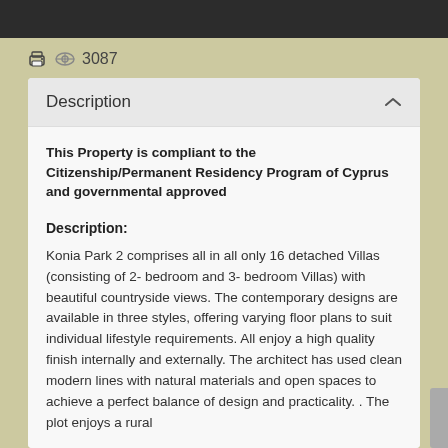[Figure (other): Dark top banner bar]
🖨 👁 3087
Description
This Property is compliant to the Citizenship/Permanent Residency Program of Cyprus and governmental approved
Description:
Konia Park 2 comprises all in all only 16 detached Villas (consisting of 2- bedroom and 3- bedroom Villas) with beautiful countryside views. The contemporary designs are available in three styles, offering varying floor plans to suit individual lifestyle requirements. All enjoy a high quality finish internally and externally. The architect has used clean modern lines with natural materials and open spaces to achieve a perfect balance of design and practicality. . The plot enjoys a rural